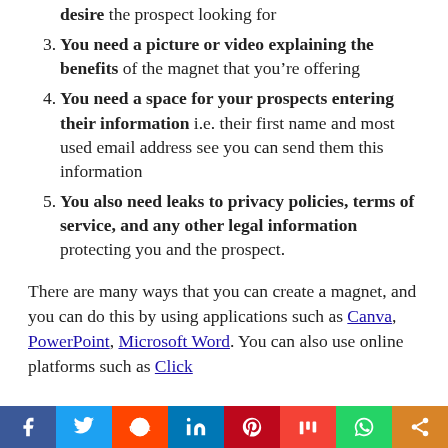desire the prospect looking for
3. You need a picture or video explaining the benefits of the magnet that you’re offering
4. You need a space for your prospects entering their information i.e. their first name and most used email address see you can send them this information
5. You also need leaks to privacy policies, terms of service, and any other legal information protecting you and the prospect.
There are many ways that you can create a magnet, and you can do this by using applications such as Canva, PowerPoint, Microsoft Word. You can also use online platforms such as Click
f  Twitter  Reddit  in  Pinterest  Mix  WhatsApp  Share